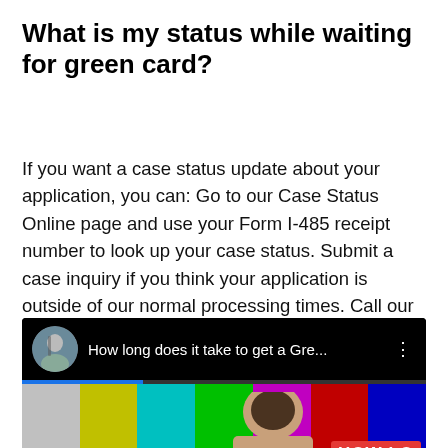What is my status while waiting for green card?
If you want a case status update about your application, you can: Go to our Case Status Online page and use your Form I-485 receipt number to look up your case status. Submit a case inquiry if you think your application is outside of our normal processing times. Call our USCIS Contact Center at 800-375-5283.
[Figure (screenshot): YouTube video thumbnail and title bar showing 'How long does it take to get a Gre...' with a circular channel avatar, colorful test-pattern bars, and a person's face partially visible. A red 'HOW LO' badge appears in the bottom right.]